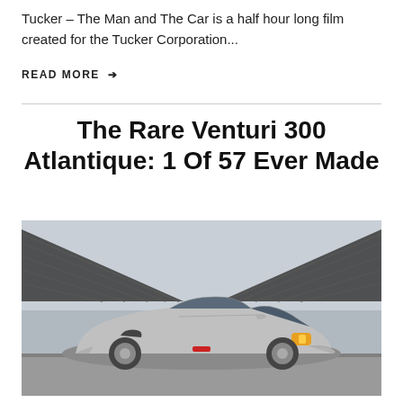Tucker – The Man and The Car is a half hour long film created for the Tucker Corporation...
READ MORE →
The Rare Venturi 300 Atlantique: 1 Of 57 Ever Made
[Figure (photo): Silver Venturi 300 Atlantique sports car parked in front of a large covered structure with steel roof, overcast sky in background]